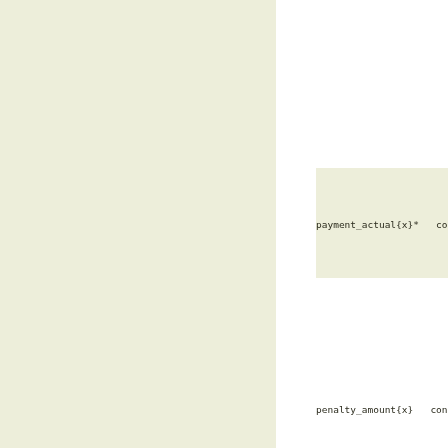payment_actual{x}*   conti
penalty_amount{x}   conti